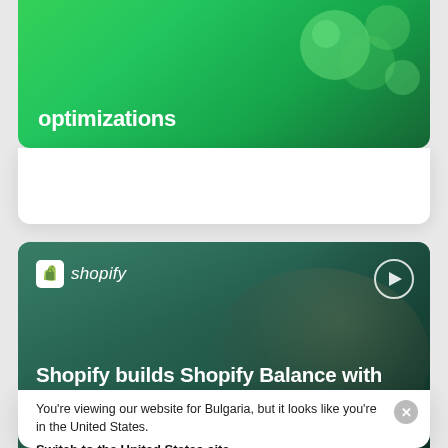through Stripe's payment optimizations
[Figure (screenshot): Green background card showing partial text 'through Stripe's payment optimizations' in white bold font over a green bokeh/bubble background]
[Figure (screenshot): Shopify video thumbnail card: Shopify logo top-left, play button top-right, over a dark teal-tinted photo of a person working at a computer. Title text: 'Shopify builds Shopify Balance with Stripe to give small businesses an easier']
Shopify builds Shopify Balance with Stripe to give small businesses an easier
You're viewing our website for Bulgaria, but it looks like you're in the United States.
Switch to the United States site ›